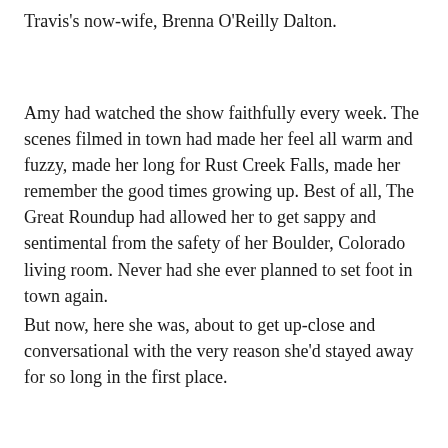Travis's now-wife, Brenna O'Reilly Dalton.
Amy had watched the show faithfully every week. The scenes filmed in town had made her feel all warm and fuzzy, made her long for Rust Creek Falls, made her remember the good times growing up. Best of all, The Great Roundup had allowed her to get sappy and sentimental from the safety of her Boulder, Colorado living room. Never had she ever planned to set foot in town again.
But now, here she was, about to get up-close and conversational with the very reason she'd stayed away for so long in the first place.